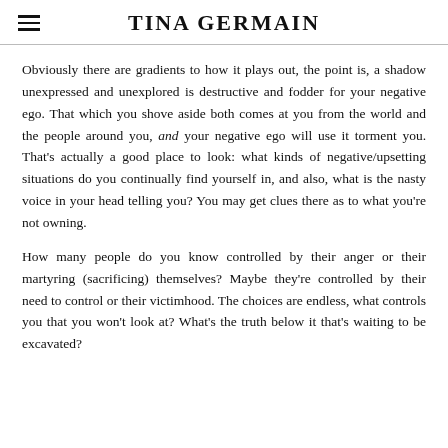TINA GERMAIN
Obviously there are gradients to how it plays out, the point is, a shadow unexpressed and unexplored is destructive and fodder for your negative ego. That which you shove aside both comes at you from the world and the people around you, and your negative ego will use it torment you. That's actually a good place to look: what kinds of negative/upsetting situations do you continually find yourself in, and also, what is the nasty voice in your head telling you? You may get clues there as to what you're not owning.
How many people do you know controlled by their anger or their martyring (sacrificing) themselves? Maybe they're controlled by their need to control or their victimhood. The choices are endless, what controls you that you won't look at? What's the truth below it that's waiting to be excavated?